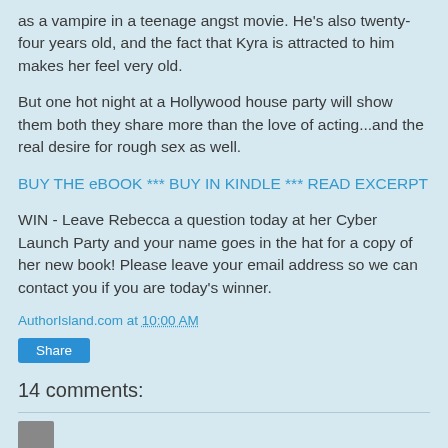as a vampire in a teenage angst movie. He's also twenty-four years old, and the fact that Kyra is attracted to him makes her feel very old.
But one hot night at a Hollywood house party will show them both they share more than the love of acting...and the real desire for rough sex as well.
BUY THE eBOOK  ***  BUY IN KINDLE   ***   READ EXCERPT
WIN - Leave Rebecca a question today at her Cyber Launch Party and your name goes in the hat for a copy of her new book! Please leave your email address so we can contact you if you are today's winner.
AuthorIsland.com at 10:00 AM
Share
14 comments: